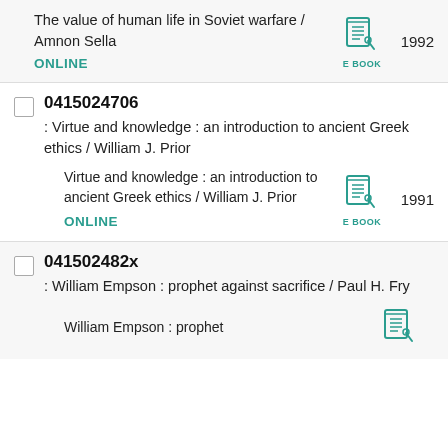The value of human life in Soviet warfare / Amnon Sella
ONLINE
1992
0415024706
: Virtue and knowledge : an introduction to ancient Greek ethics / William J. Prior
Virtue and knowledge : an introduction to ancient Greek ethics / William J. Prior
ONLINE
1991
041502482x
: William Empson : prophet against sacrifice / Paul H. Fry
William Empson : prophet